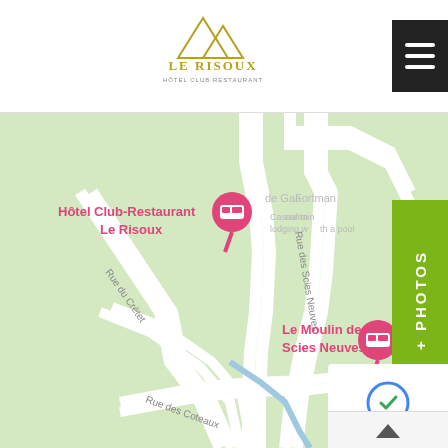[Figure (logo): Le Risoux Hotel Club Restaurant logo with mountain peaks icon]
[Figure (map): Google Maps screenshot showing the location of Hotel Club-Restaurant Le Risoux and nearby streets: Rue du Crétet, Rue des Scies Neuves, Rue des Coteaux. Also shows Le Moulin des Scies Neuves location marker.]
[Figure (other): + PHOTOS green vertical button on the right side]
[Figure (other): Privacy/reCAPTCHA badge bottom right corner]